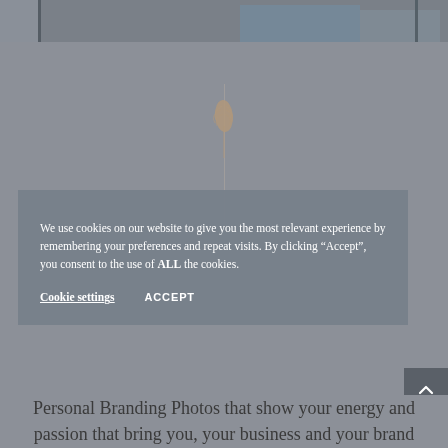[Figure (photo): Partial view of a photograph strip at the top of the page showing people, possibly in a professional or branding photography context, with blue tones visible.]
[Figure (illustration): A feather illustration floating above a vertical dividing line centered on the page, serving as a decorative separator element.]
We use cookies on our website to give you the most relevant experience by remembering your preferences and repeat visits. By clicking “Accept”, you consent to the use of ALL the cookies.
Cookie settings   ACCEPT
Personal Branding Photos that show your energy and passion that bring you, your business and your brand to life. Photos that will make your